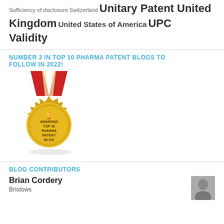Sufficiency of disclosure Switzerland Unitary Patent United Kingdom United States of America UPC Validity
NUMBER 3 IN TOP 10 PHARMA PATENT BLOGS TO FOLLOW IN 2022!
[Figure (illustration): Gold award medal with red ribbon, text reads AWARDED TOP 10 PHARMA PATENT BLOG]
BLOG CONTRIBUTORS
Brian Cordery
Bristows
[Figure (photo): Black and white headshot photo of Brian Cordery]